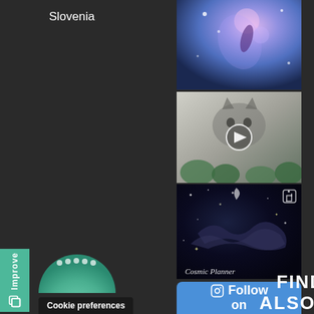Slovenia
website
[Figure (photo): Cosmic/space art with purple and blue tones — top right Instagram thumbnail 1]
[Figure (photo): Cat pencil drawing with green plant elements — Instagram thumbnail 2 with play button]
[Figure (photo): Dark cosmic planner art with birds/whales in space — Instagram thumbnail 3 labeled 'Cosmic Planner']
Follow on Instagram
FIND ME ALSO HERE
Cookie preferences
Improve